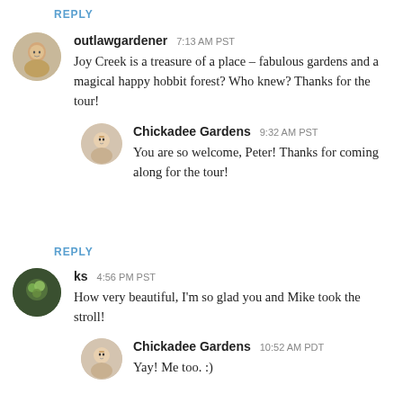REPLY
outlawgardener  7:13 AM PST
Joy Creek is a treasure of a place - fabulous gardens and a magical happy hobbit forest? Who knew? Thanks for the tour!
Chickadee Gardens  9:32 AM PST
You are so welcome, Peter! Thanks for coming along for the tour!
REPLY
ks  4:56 PM PST
How very beautiful, I'm so glad you and Mike took the stroll!
Chickadee Gardens  10:52 AM PDT
Yay! Me too. :)